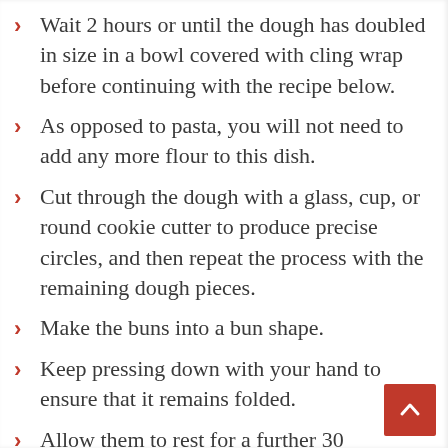Wait 2 hours or until the dough has doubled in size in a bowl covered with cling wrap before continuing with the recipe below.
As opposed to pasta, you will not need to add any more flour to this dish.
Cut through the dough with a glass, cup, or round cookie cutter to produce precise circles, and then repeat the process with the remaining dough pieces.
Make the buns into a bun shape.
Keep pressing down with your hand to ensure that it remains folded.
Allow them to rest for a further 30